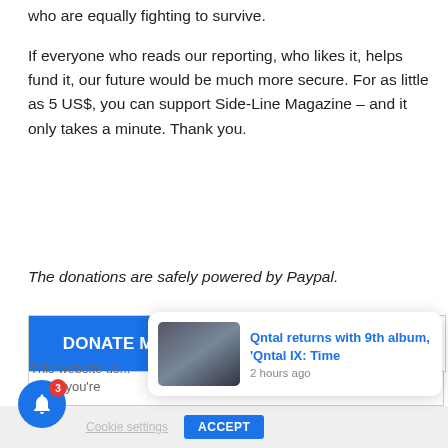who are equally fighting to survive.
If everyone who reads our reporting, who likes it, helps fund it, our future would be much more secure. For as little as 5 US$, you can support Side-Line Magazine – and it only takes a minute. Thank you.
The donations are safely powered by Paypal.
DONATE MONTHLY   DONATE ONCE ONLY
This website us... sume you're...
Qntal returns with 9th album, 'Qntal IX: Time
2 hours ago
Cookie settings   ACCEPT